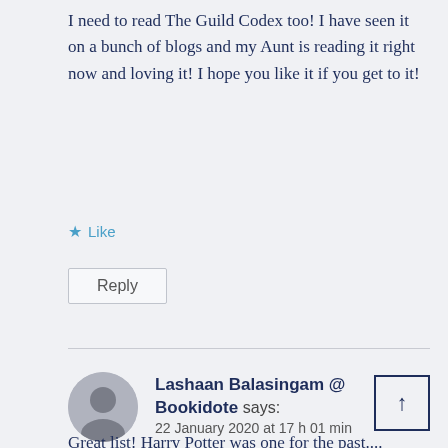I need to read The Guild Codex too! I have seen it on a bunch of blogs and my Aunt is reading it right now and loving it! I hope you like it if you get to it!
★ Like
Reply
Lashaan Balasingam @ Bookidote says:
22 January 2020 at 17 h 01 min
Great list! Harry Potter was one for the past....